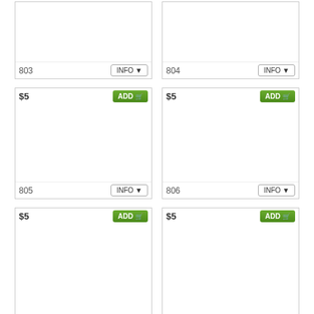[Figure (other): Product card 803 - partial top visible, no price shown, INFO button at bottom]
[Figure (other): Product card 804 - partial top visible, no price shown, INFO button at bottom]
[Figure (other): Product card 805 - $5 price, ADD to cart button, INFO button, item number 805]
[Figure (other): Product card 806 - $5 price, ADD to cart button, INFO button, item number 806]
[Figure (other): Product card 807 - $5 price, ADD to cart button, partial bottom visible]
[Figure (other): Product card 808 - $5 price, ADD to cart button, partial bottom visible]